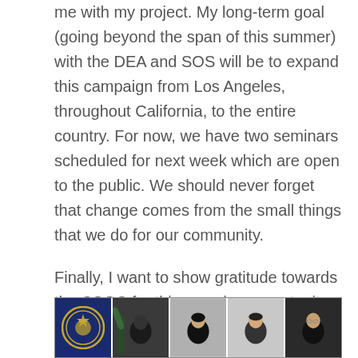me with my project. My long-term goal (going beyond the span of this summer) with the DEA and SOS will be to expand this campaign from Los Angeles, throughout California, to the entire country. For now, we have two seminars scheduled for next week which are open to the public. We should never forget that change comes from the small things that we do for our community.
Finally, I want to show gratitude towards the CSGC for this amazing opportunity.
-Kevin Kim '23
[Figure (photo): A strip of five video call participant thumbnails: a DEA badge/seal on dark blue background, a man in a black jacket with greenery behind, an Asian person in dark clothing against a light background, a man in a suit against a light background, and a man with glasses in a dark jacket.]